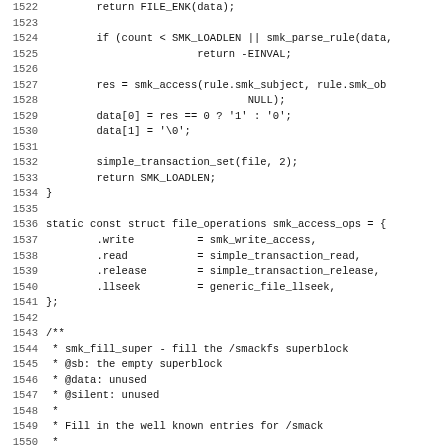Source code listing lines 1522–1554, showing C code for smk_write_access function, file_operations struct, and smk_fill_super function documentation.